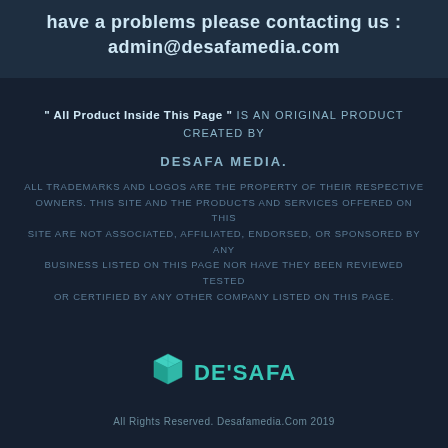have a problems please contacting us : admin@desafamedia.com
" All Product Inside This Page " IS AN ORIGINAL PRODUCT CREATED BY DESAFA MEDIA. ALL TRADEMARKS AND LOGOS ARE THE PROPERTY OF THEIR RESPECTIVE OWNERS. THIS SITE AND THE PRODUCTS AND SERVICES OFFERED ON THIS SITE ARE NOT ASSOCIATED, AFFILIATED, ENDORSED, OR SPONSORED BY ANY BUSINESS LISTED ON THIS PAGE NOR HAVE THEY BEEN REVIEWED TESTED OR CERTIFIED BY ANY OTHER COMPANY LISTED ON THIS PAGE.
[Figure (logo): DESAFA Media logo — a teal 3D cube icon next to the text DE'SAFA in teal/cyan letters]
All Rights Reserved. Desafamedia.Com 2019